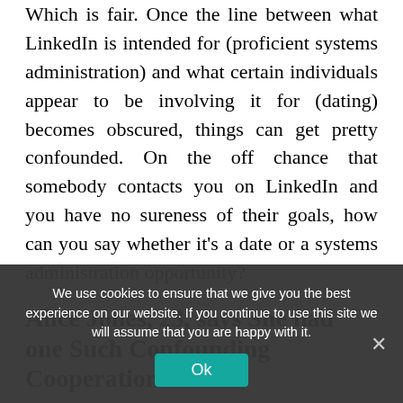Which is fair. Once the line between what LinkedIn is intended for (proficient systems administration) and what certain individuals appear to be involving it for (dating) becomes obscured, things can get pretty confounded. On the off chance that somebody contacts you on LinkedIn and you have no sureness of their goals, how can you say whether it's a date or a systems administration opportunity?
Alice Jones, 23, says She had one Such Confounding Cooperation.
She said the my ... as well, so ye come with me bring it...